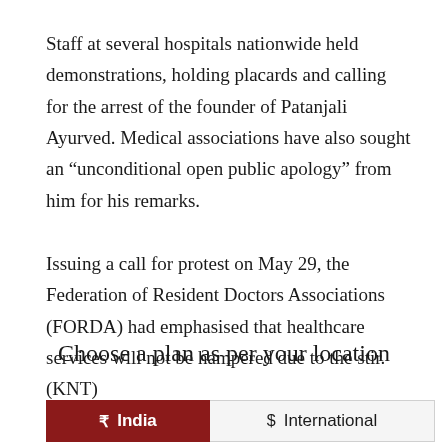Staff at several hospitals nationwide held demonstrations, holding placards and calling for the arrest of the founder of Patanjali Ayurved. Medical associations have also sought an “unconditional open public apology” from him for his remarks.
Issuing a call for protest on May 29, the Federation of Resident Doctors Associations (FORDA) had emphasised that healthcare services will not be hampered due to the stir. (KNT)
Choose a plan as per your location
₹ India  $ International